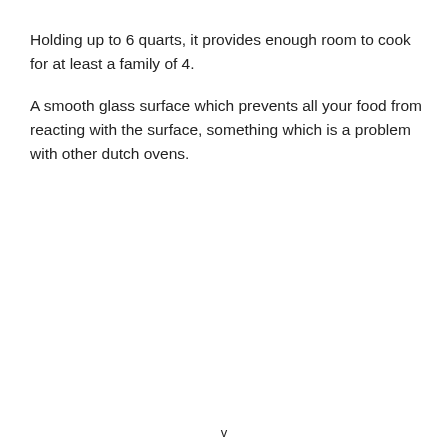Holding up to 6 quarts, it provides enough room to cook for at least a family of 4.
A smooth glass surface which prevents all your food from reacting with the surface, something which is a problem with other dutch ovens.
v